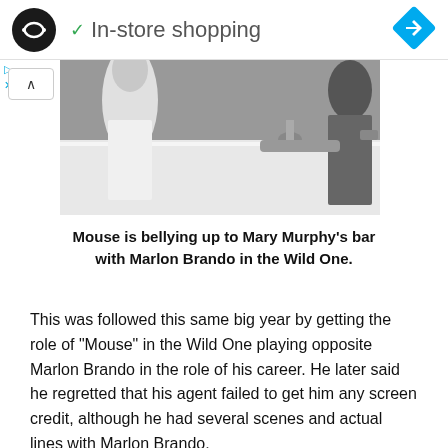In-store shopping
[Figure (photo): Black and white photo showing people at a bar counter, partially cropped at top]
Mouse is bellying up to Mary Murphy's bar with Marlon Brando in the Wild One.
This was followed this same big year by getting the role of “Mouse” in the Wild One playing opposite Marlon Brando in the role of his career. He later said he regretted that his agent failed to get him any screen credit, although he had several scenes and actual lines with Marlon Brando.